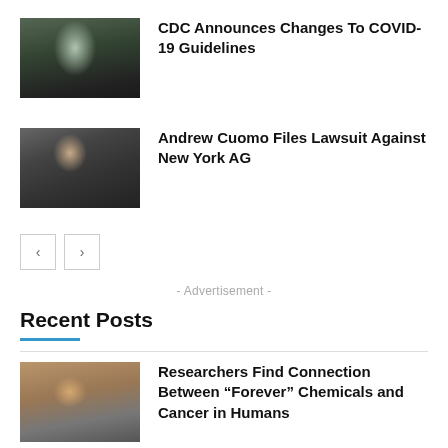[Figure (photo): Person wearing a mask outdoors in a city]
CDC Announces Changes To COVID-19 Guidelines
[Figure (photo): Andrew Cuomo at a press conference]
Andrew Cuomo Files Lawsuit Against New York AG
< >
- Advertisement -
Recent Posts
[Figure (photo): Person cooking at a stove]
Researchers Find Connection Between “Forever” Chemicals and Cancer in Humans